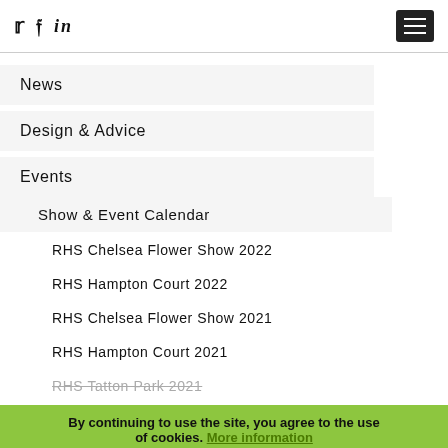Twitter Facebook LinkedIn [hamburger menu]
News
Design & Advice
Events
Show & Event Calendar
RHS Chelsea Flower Show 2022
RHS Hampton Court 2022
RHS Chelsea Flower Show 2021
RHS Hampton Court 2021
RHS Tatton Park 2021
Events archive. More information
RHS Chelsea Flower Show 2019
By continuing to use the site, you agree to the use of cookies. More information  ACCEPT